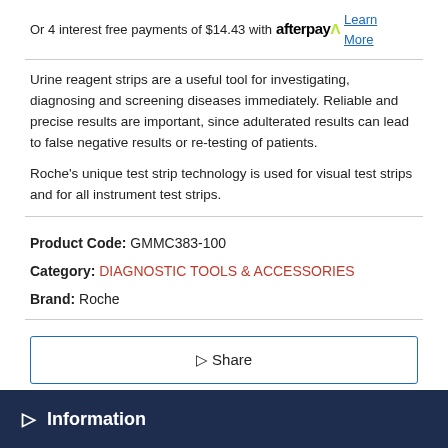Or 4 interest free payments of $14.43 with afterpay Learn More
Urine reagent strips are a useful tool for investigating, diagnosing and screening diseases immediately. Reliable and precise results are important, since adulterated results can lead to false negative results or re-testing of patients.

Roche’s unique test strip technology is used for visual test strips and for all instrument test strips.
Product Code: GMMC383-100
Category: DIAGNOSTIC TOOLS & ACCESSORIES
Brand: Roche
▷ Share
▷ Click Image to Enlarge
▷ Information